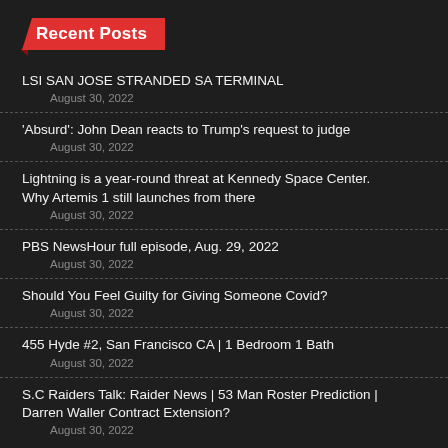Recent Posts
LSI SAN JOSE STRANDED SA TERMINAL
August 30, 2022
'Absurd': John Dean reacts to Trump's request to judge
August 30, 2022
Lightning is a year-round threat at Kennedy Space Center. Why Artemis 1 still launches from there
August 30, 2022
PBS NewsHour full episode, Aug. 29, 2022
August 30, 2022
Should You Feel Guilty for Giving Someone Covid?
August 30, 2022
455 Hyde #2, San Francisco CA | 1 Bedroom 1 Bath
August 30, 2022
S.C Raiders Talk: Raider News | 53 Man Roster Prediction | Darren Waller Contract Extension?
August 30, 2022